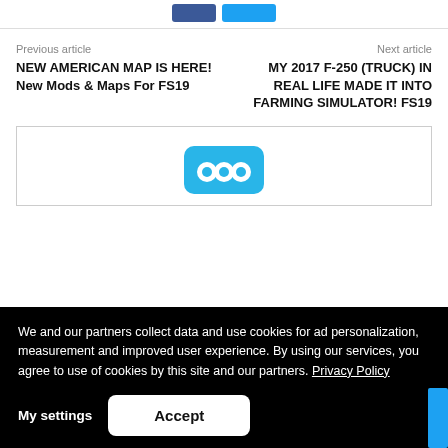[Figure (other): Social share buttons: Facebook (dark blue) and Twitter (light blue)]
Previous article
Next article
NEW AMERICAN MAP IS HERE! New Mods & Maps For FS19
MY 2017 F-250 (TRUCK) IN REAL LIFE MADE IT INTO FARMING SIMULATOR! FS19
[Figure (logo): Widget box with a blue logo/icon visible at top]
We and our partners collect data and use cookies for ad personalization, measurement and improved user experience. By using our services, you agree to use of cookies by this site and our partners. Privacy Policy
My settings
Accept